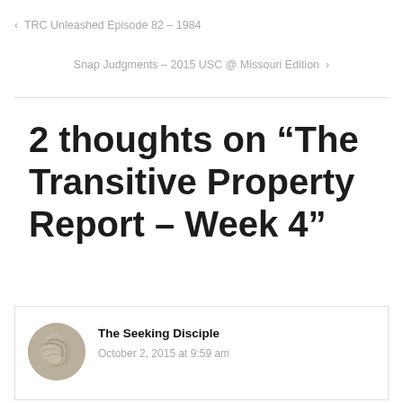< TRC Unleashed Episode 82 – 1984
Snap Judgments – 2015 USC @ Missouri Edition >
2 thoughts on “The Transitive Property Report – Week 4”
The Seeking Disciple
October 2, 2015 at 9:59 am
[Figure (logo): WooCommerce advertisement banner: purple background with WooCommerce logo on left and text 'The most customizable eCommerce platform' on right]
Advertisements